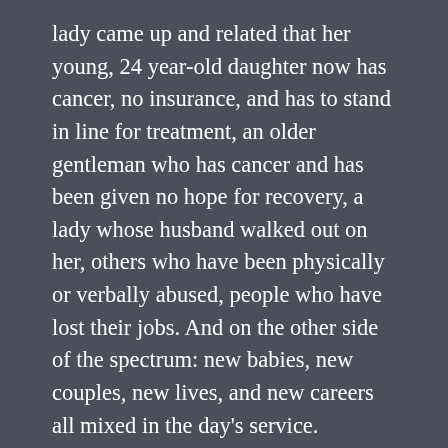lady came up and related that her young, 24 year-old daughter now has cancer, no insurance, and has to stand in line for treatment, an older gentleman who has cancer and has been given no hope for recovery, a lady whose husband walked out on her, others who have been physically or verbally abused, people who have lost their jobs. And on the other side of the spectrum: new babies, new couples, new lives, and new careers all mixed in the day's service.
That's the church of Jesus Christ – the good, the bad, the up, the down, the realness of life mixed in that sacred moment where God shows up and gives the theme of grace, the theme of